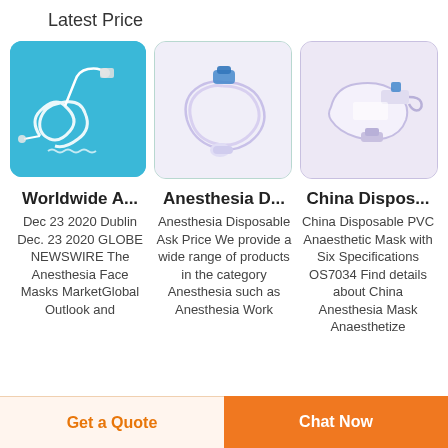Latest Price
[Figure (photo): Medical tubing/catheter set with connectors on blue background]
[Figure (photo): Anesthesia disposable circuit/breathing tube on light purple background]
[Figure (photo): Disposable PVC anaesthetic mask/tubing assembly on light purple background]
Worldwide A...
Anesthesia D...
China Dispos...
Dec 23 2020 Dublin Dec. 23 2020 GLOBE NEWSWIRE The Anesthesia Face Masks MarketGlobal Outlook and
Anesthesia Disposable Ask Price We provide a wide range of products in the category Anesthesia such as Anesthesia Work
China Disposable PVC Anaesthetic Mask with Six Specifications OS7034 Find details about China Anesthesia Mask Anaesthetize
Get a Quote
Chat Now